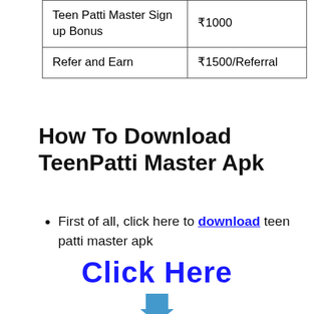| Teen Patti Master Sign up Bonus | ₹1000 |
| Refer and Earn | ₹1500/Referral |
How To Download TeenPatti Master Apk
First of all, click here to download teen patti master apk
Click Here